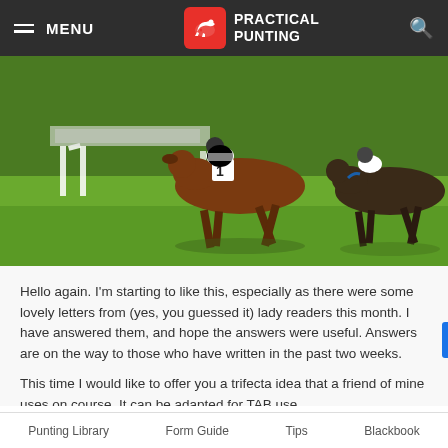MENU | PRACTICAL PUNTING
[Figure (photo): Horse racing photo showing horses mid-race on a green grass track, with a jockey wearing number 1 saddle cloth visible prominently.]
Hello again. I'm starting to like this, especially as there were some lovely letters from (yes, you guessed it) lady readers this month. I have answered them, and hope the answers were useful. Answers are on the way to those who have written in the past two weeks.
This time I would like to offer you a trifecta idea that a friend of mine uses on course. It can be adapted for TAB use,
Punting Library   Form Guide   Tips   Blackbook